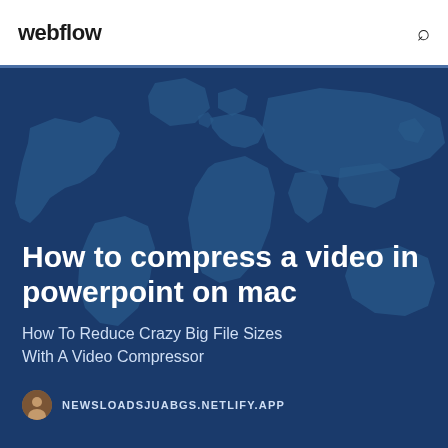webflow
[Figure (illustration): World map silhouette on dark navy/teal blue background used as hero banner backdrop]
How to compress a video in powerpoint on mac
How To Reduce Crazy Big File Sizes With A Video Compressor
NEWSLOADSJUABGS.NETLIFY.APP